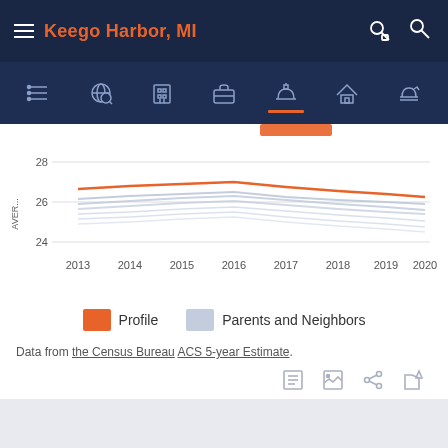Keego Harbor, MI
[Figure (line-chart): Average household size trend]
Profile   Parents and Neighbors
Data from the Census Bureau ACS 5-year Estimate.